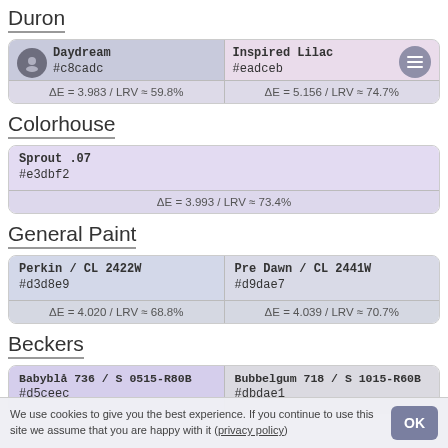Duron
| Color | Color |
| --- | --- |
| Daydream
#c8cadc
ΔE = 3.983 / LRV ≈ 59.8% | Inspired Lilac
#eadceb
ΔE = 5.156 / LRV ≈ 74.7% |
Colorhouse
| Color |
| --- |
| Sprout .07
#e3dbf2
ΔE = 3.993 / LRV ≈ 73.4% |
General Paint
| Color | Color |
| --- | --- |
| Perkin / CL 2422W
#d3d8e9
ΔE = 4.020 / LRV ≈ 68.8% | Pre Dawn / CL 2441W
#d9dae7
ΔE = 4.039 / LRV ≈ 70.7% |
Beckers
| Color | Color |
| --- | --- |
| Babyblå 736 / S 0515-R80B
#d5ceec | Bubbelgum 718 / S 1015-R60B
#dbdae1 |
We use cookies to give you the best experience. If you continue to use this site we assume that you are happy with it (privacy policy)